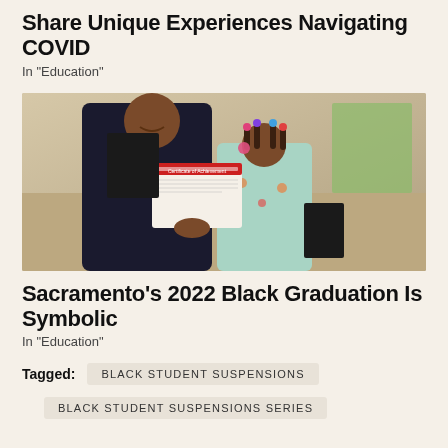Share Unique Experiences Navigating COVID
In "Education"
[Figure (photo): An adult woman and a young girl posing together holding a Certificate of Achievement and a diploma folder at what appears to be a Black Graduation ceremony.]
Sacramento's 2022 Black Graduation Is Symbolic
In "Education"
Tagged: BLACK STUDENT SUSPENSIONS
BLACK STUDENT SUSPENSIONS SERIES